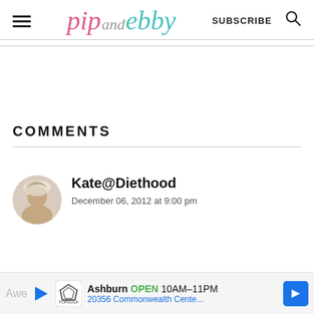pip and ebby — SUBSCRIBE
COMMENTS
Kate@Diethood
December 06, 2012 at 9:00 pm
[Figure (screenshot): Ad banner: Ashburn OPEN 10AM-11PM, 20356 Commonwealth Cente... Topgolf logo with navigation arrow]